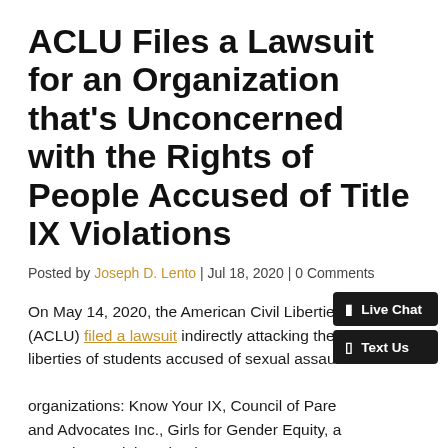ACLU Files a Lawsuit for an Organization that's Unconcerned with the Rights of People Accused of Title IX Violations
Posted by Joseph D. Lento | Jul 18, 2020 | 0 Comments
On May 14, 2020, the American Civil Liberties Union (ACLU) filed a lawsuit indirectly attacking the civil liberties of students accused of sexual assault on behalf of organizations: Know Your IX, Council of Parent Attorneys and Advocates Inc., Girls for Gender Equity, and Stop Sexual Assault in Schools.
Of the groups, only Know Your IX has played the most prominent role in the debate about due process and